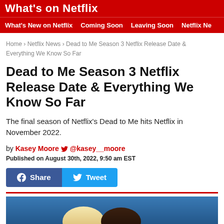What's on Netflix
What's New on Netflix | Coming Soon | Leaving Soon | Netflix Ne
Home › Netflix News › Dead to Me Season 3 Netflix Release Date & Everything We Know So Far
Dead to Me Season 3 Netflix Release Date & Everything We Know So Far
The final season of Netflix's Dead to Me hits Netflix in November 2022.
by Kasey Moore 🐦 @kasey__moore
Published on August 30th, 2022, 9:50 am EST
[Figure (photo): Photo of two people, one with blonde hair and one with dark hair, against a blue background — cast of Dead to Me]